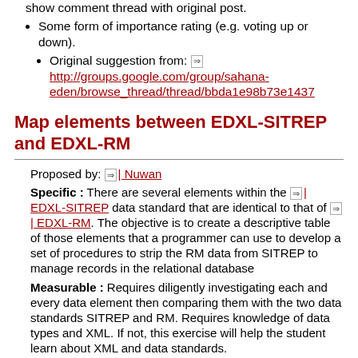show comment thread with original post.
Some form of importance rating (e.g. voting up or down).
Original suggestion from: http://groups.google.com/group/sahana-eden/browse_thread/thread/bbda1e98b73e1437
Map elements between EDXL-SITREP and EDXL-RM
Proposed by: | Nuwan
Specific : There are several elements within the | EDXL-SITREP data standard that are identical to that of | EDXL-RM. The objective is to create a descriptive table of those elements that a programmer can use to develop a set of procedures to strip the RM data from SITREP to manage records in the relational database
Measurable : Requires diligently investigating each and every data element then comparing them with the two data standards SITREP and RM. Requires knowledge of data types and XML. If not, this exercise will help the student learn about XML and data standards.